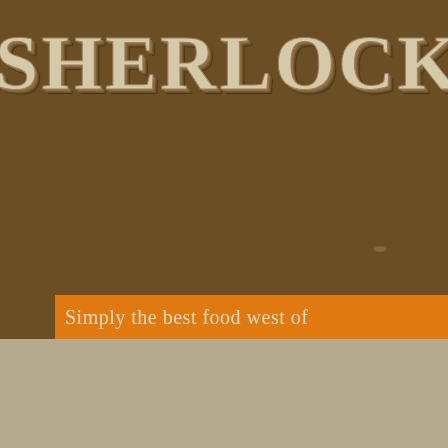SHERLOCK HOLMES OUT
Simply the best food west of
[Figure (other): Empty content box with border on tan/khaki background]